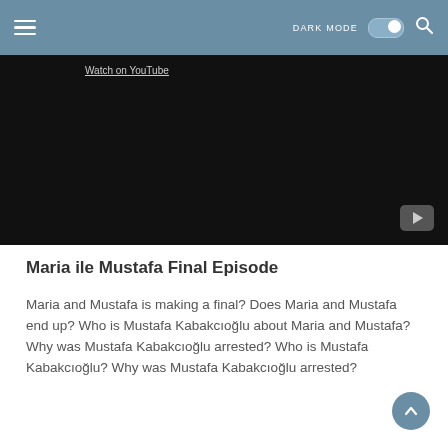DARK MODE  [toggle]  [search]
[Figure (screenshot): Embedded YouTube video player showing a dark/black video with 'Watch on YouTube' link and play button icon in the bottom right.]
Maria ile Mustafa Final Episode
Maria and Mustafa is making a final? Does Maria and Mustafa end up? Who is Mustafa Kabakcıoğlu about Maria and Mustafa? Why was Mustafa Kabakcıoğlu arrested? Who is Mustafa Kabakcıoğlu? Why was Mustafa Kabakcıoğlu arrested?